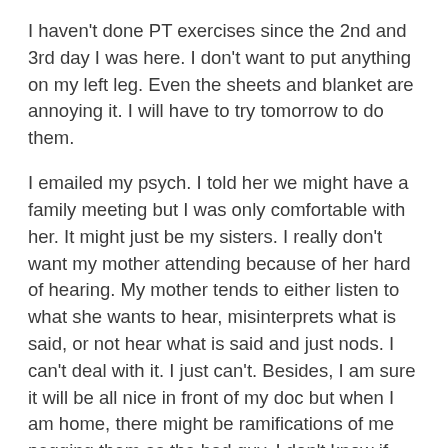I haven't done PT exercises since the 2nd and 3rd day I was here. I don't want to put anything on my left leg. Even the sheets and blanket are annoying it. I will have to try tomorrow to do them.
I emailed my psych. I told her we might have a family meeting but I was only comfortable with her. It might just be my sisters. I really don't want my mother attending because of her hard of hearing. My mother tends to either listen to what she wants to hear, misinterprets what is said, or not hear what is said and just nods. I can't deal with it. I just can't. Besides, I am sure it will be all nice in front of my doc but when I am home, there might be ramifications of me pegging them as the bad guy. I don't know if this will happen but it is possible.
Been wanting to die all day because of the fucking pain. The heat is not helping. Hope it cools off some. I got my window open a bit. Might have it open a little more later if